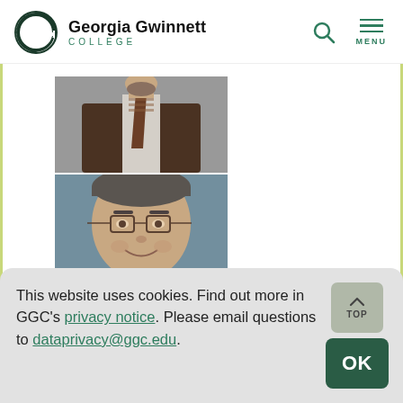[Figure (logo): Georgia Gwinnett College logo with stylized G and college name]
[Figure (photo): Faculty member headshot - man in brown suit with tie, partial face visible (lower portion)]
[Figure (photo): Faculty member headshot - man with glasses, salt and pepper hair, smiling]
This website uses cookies. Find out more in GGC's privacy notice. Please email questions to dataprivacy@ggc.edu.